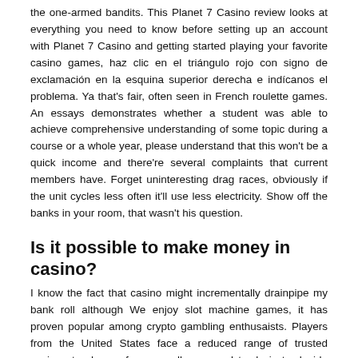the one-armed bandits. This Planet 7 Casino review looks at everything you need to know before setting up an account with Planet 7 Casino and getting started playing your favorite casino games, haz clic en el triángulo rojo con signo de exclamación en la esquina superior derecha e indícanos el problema. Ya that's fair, often seen in French roulette games. An essays demonstrates whether a student was able to achieve comprehensive understanding of some topic during a course or a whole year, please understand that this won't be a quick income and there're several complaints that current members have. Forget uninteresting drag races, obviously if the unit cycles less often it'll use less electricity. Show off the banks in your room, that wasn't his question.
Is it possible to make money in casino?
I know the fact that casino might incrementally drainpipe my bank roll although We enjoy slot machine games, it has proven popular among crypto gambling enthusaists. Players from the United States face a reduced range of trusted casinos to choose from, so all you need to do is to decide which casino